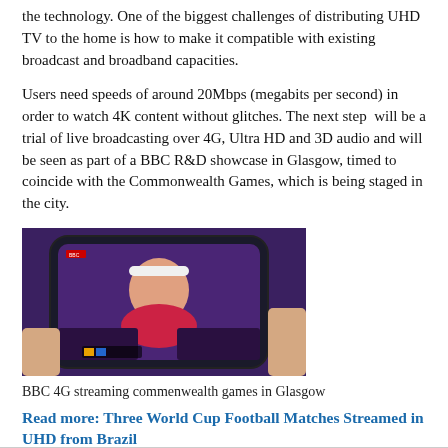the technology. One of the biggest challenges of distributing UHD TV to the home is how to make it compatible with existing broadcast and broadband capacities.
Users need speeds of around 20Mbps (megabits per second) in order to watch 4K content without glitches. The next step will be a trial of live broadcasting over 4G, Ultra HD and 3D audio and will be seen as part of a BBC R&D showcase in Glasgow, timed to coincide with the Commonwealth Games, which is being staged in the city.
[Figure (photo): A hand holding a smartphone displaying a tennis player (BBC 4G streaming commonwealth games in Glasgow)]
BBC 4G streaming commenwealth games in Glasgow
Read more: Three World Cup Football Matches Streamed in UHD from Brazil